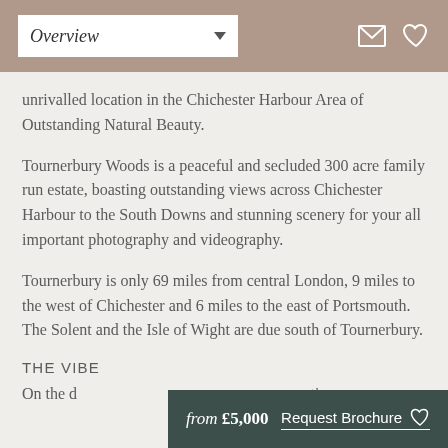Overview
unrivalled location in the Chichester Harbour Area of Outstanding Natural Beauty.
Tournerbury Woods is a peaceful and secluded 300 acre family run estate, boasting outstanding views across Chichester Harbour to the South Downs and stunning scenery for your all important photography and videography.
Tournerbury is only 69 miles from central London, 9 miles to the west of Chichester and 6 miles to the east of Portsmouth. The Solent and the Isle of Wight are due south of Tournerbury.
THE VIBE
On the d... astic
from £5,000   Request Brochure